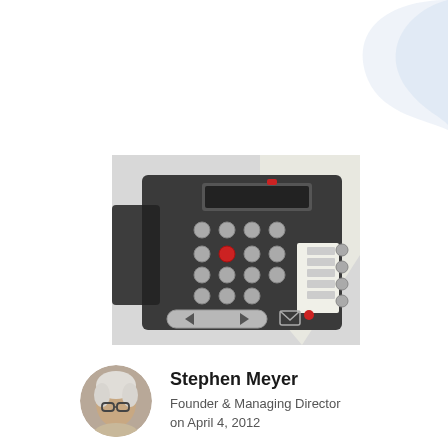[Figure (photo): Close-up photo of a dark grey office desk phone (Avaya-style) showing the keypad with multiple buttons, a scrollable navigation bar, and a label area, shot from a shallow angle on a desk.]
Stephen Meyer
Founder & Managing Director
on April 4, 2012